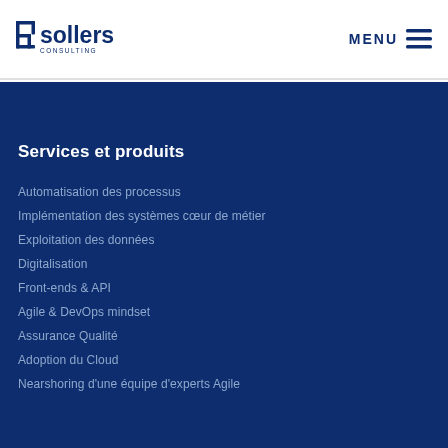Bsollers Consulting — MENU
Services et produits
Automatisation des processus
Implémentation des systèmes cœur de métier
Exploitation des données
Digitalisation
Front-ends & API
Agile & DevOps mindset
Assurance Qualité
Adoption du Cloud
Nearshoring d'une équipe d'experts Agile